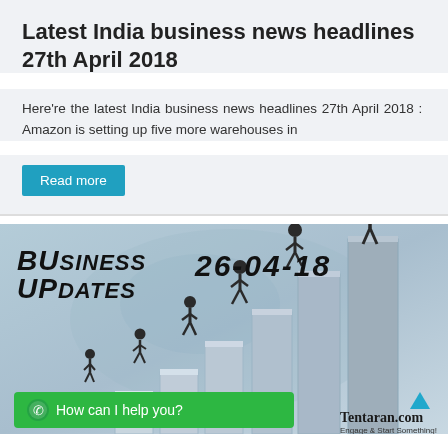Latest India business news headlines 27th April 2018
Here're the latest India business news headlines 27th April 2018 :  Amazon is setting up five more warehouses in
Read more
[Figure (infographic): Business Updates 26-04-18 infographic showing businessmen walking up rising bar chart columns with a world map background. Green WhatsApp 'How can I help you?' bar at bottom. Tentaran.com logo with tagline 'Engage & Start Something!' at bottom right.]